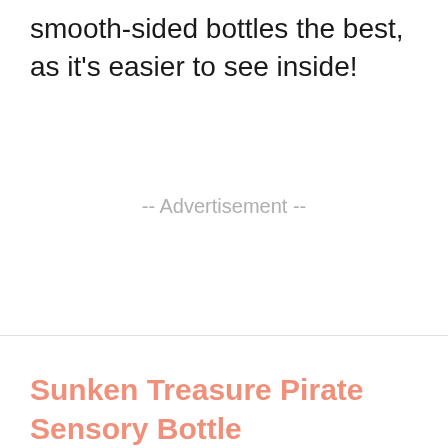smooth-sided bottles the best, as it's easier to see inside!
-- Advertisement --
Sunken Treasure Pirate Sensory Bottle